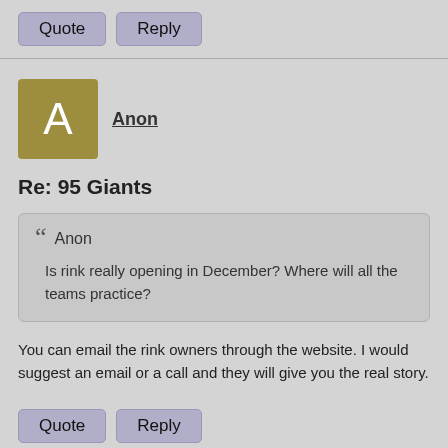Quote | Reply
[Figure (illustration): User avatar: a golden/olive square with white letter A]
Anon
Re: 95 Giants
Anon
Is rink really opening in December? Where will all the teams practice?
You can email the rink owners through the website. I would suggest an email or a call and they will give you the real story.
Quote | Reply